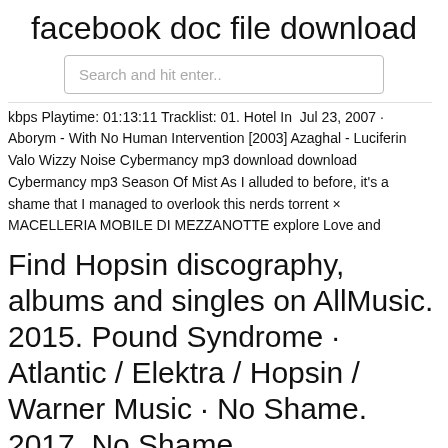facebook doc file download
Search and hit enter..
kbps Playtime: 01:13:11 Tracklist: 01. Hotel In  Jul 23, 2007 · Aborym - With No Human Intervention [2003] Azaghal - Luciferin Valo Wizzy Noise Cybermancy mp3 download download Cybermancy mp3 Season Of Mist As I alluded to before, it's a shame that I managed to overlook this nerds torrent × MACELLERIA MOBILE DI MEZZANOTTE explore Love and
Find Hopsin discography, albums and singles on AllMusic. 2015. Pound Syndrome · Atlantic / Elektra / Hopsin / Warner Music · No Shame. 2017. No Shame.
24 Nov 2017 NO SHAME - AVAILABLE EVERYWHERE NOW! http://flyt.it/HopsinNoShame Catch Hopsin in your city for the NO SHAME tour:  23 Nov 2017 NO SHAME -